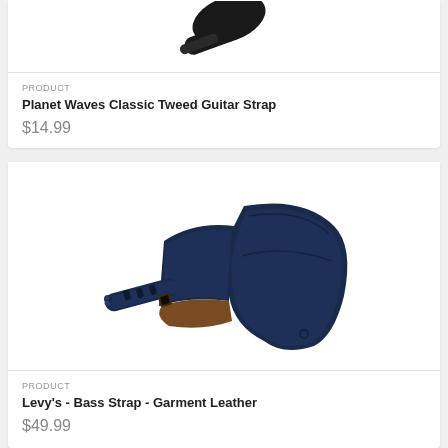[Figure (photo): Planet Waves Classic Tweed Guitar Strap product image, partial view showing black strap end]
PRODUCT
Planet Waves Classic Tweed Guitar Strap
$14.99
[Figure (photo): Levy's Bass Strap in Garment Leather, navy/dark blue leather strap coiled showing adjustable end and wide padded body]
PRODUCT
Levy's - Bass Strap - Garment Leather
$49.99